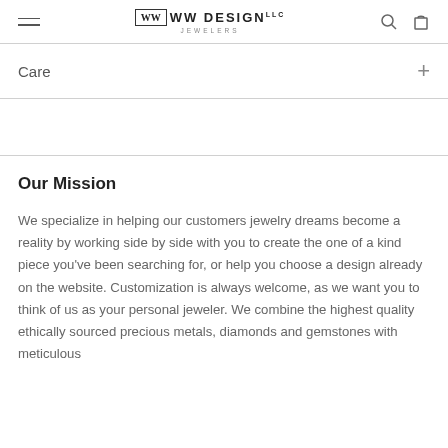WW DESIGN Jewelers — navigation bar with hamburger menu, logo, search and cart icons
Care
Our Mission
We specialize in helping our customers jewelry dreams become a reality by working side by side with you to create the one of a kind piece you've been searching for, or help you choose a design already on the website. Customization is always welcome, as we want you to think of us as your personal jeweler. We combine the highest quality ethically sourced precious metals, diamonds and gemstones with meticulous